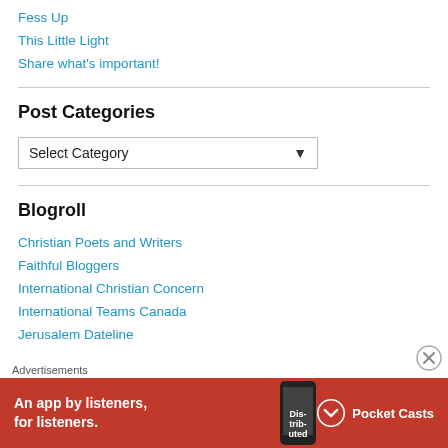Fess Up
This Little Light
Share what's important!
Post Categories
Select Category
Blogroll
Christian Poets and Writers
Faithful Bloggers
International Christian Concern
International Teams Canada
Jerusalem Dateline
Advertisements
[Figure (other): Pocket Casts advertisement banner: red background with phone image, text 'An app by listeners, for listeners.' and Pocket Casts logo]